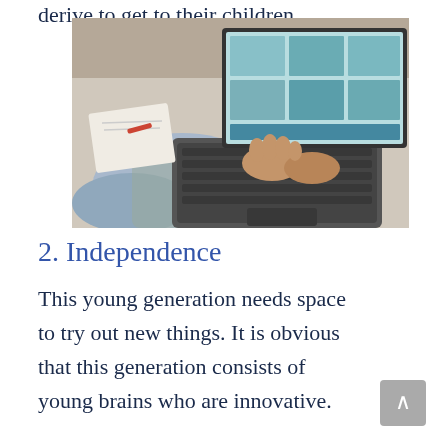…derive to get to their children.
[Figure (photo): Person sitting on a couch using a laptop computer, with papers beside them. The laptop screen shows a video call or webpage. Shot from above/side angle.]
2. Independence
This young generation needs space to try out new things. It is obvious that this generation consists of young brains who are innovative.